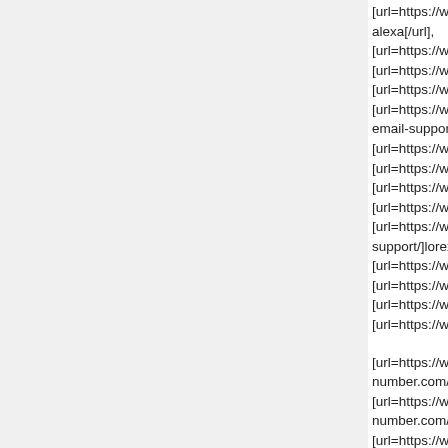[url=https://www.callvoicesupport.com/alexa-support/]alexa alexa[/url], [url=https://www.callvoicesupport.com/]independent support [url=https://www.callvoicesupport.com/yahoo-mail-support/ [url=https://www.callvoicesupport.com/yahoo-mail-support/ [url=https://www.callvoicesupport.com/verizon-email-support email-support/]verizon wireless login[/url], [url=https://www.callvoicesupport.com/sharp-printer-support [url=https://www.callvoicesupport.com/sharp-printer-support [url=https://www.callvoicesupport.com/sbcglobal-email-sup [url=https://www.callvoicesupport.com/sbcglobal-email-sup [url=https://www.callvoicesupport.com/lorex-support/]lorex support/]lorex customer service[/url], [url=https://www.callvoicesupport.com/google-hangouts-sup [url=https://www.callvoicesupport.com/google-hangouts-sup [url=https://www.callvoicesupport.com/facebook-support/]fa [url=https://www.callvoicesupport.com/facebook-support/]fa [url=https://www.call-support-number.com/lexmark-support number.com/lexmark-support/]lexmark technical support[/ur [url=https://www.call-support-number.com/webroot-support number.com/webroot-support/]webroot support[/url], [url=https://www.call-support-number.com/tomtom-support/ number.com/tomtom-support/]tomtom update[/url],